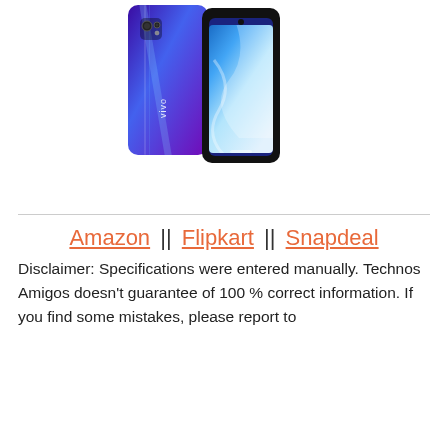[Figure (photo): Vivo smartphone showing front and back view with blue/purple gradient color and Windows 11 wallpaper on screen]
Amazon || Flipkart || Snapdeal
Disclaimer: Specifications were entered manually. Technos Amigos doesn't guarantee of 100 % correct information. If you find some mistakes, please report to